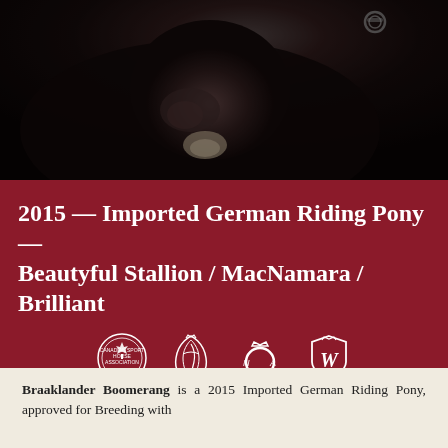[Figure (photo): Close-up photograph of a dark/black horse's face and nose with a bridle/bit, photographed against a dark background.]
2015 — Imported German Riding Pony — Beautyful Stallion / MacNamara / Brilliant
[Figure (logo): Four organization logos in white on dark red background: Canadian Sport Horse Association (circular logo with maple leaf), a stylized letter D logo, NOA logo with crown, and W shield logo.]
Braaklander Boomerang is a 2015 Imported German Riding Pony, approved for Breeding with